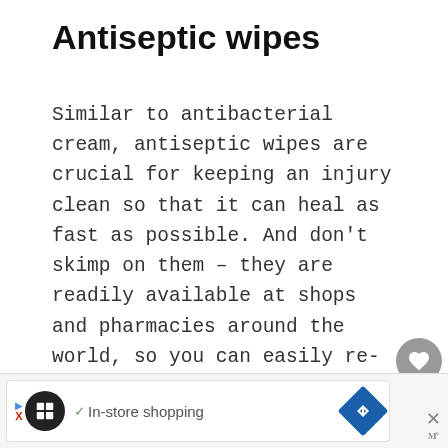Antiseptic wipes
Similar to antibacterial cream, antiseptic wipes are crucial for keeping an injury clean so that it can heal as fast as possible. And don’t skimp on them – they are readily available at shops and pharmacies around the world, so you can easily re-stock.
[Figure (screenshot): UI overlay with heart/like button showing count of 1 and a share button on the right side of the page]
[Figure (screenshot): Advertisement banner at the bottom showing an in-store shopping ad with logo, checkmark, text 'In-store shopping', map/navigation icon, and a close button]